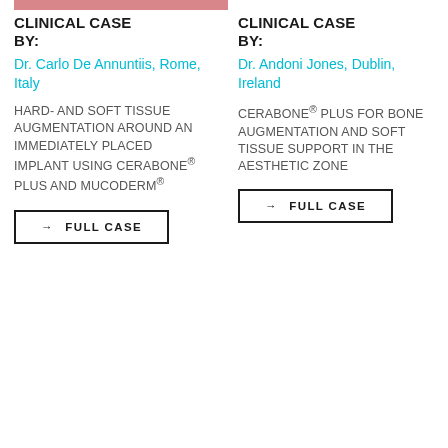CLINICAL CASE BY:
Dr. Carlo De Annuntiis, Rome, Italy
HARD- AND SOFT TISSUE AUGMENTATION AROUND AN IMMEDIATELY PLACED IMPLANT USING CERABONE® PLUS AND MUCODERM®
→ FULL CASE
CLINICAL CASE BY:
Dr. Andoni Jones, Dublin, Ireland
CERABONE® PLUS FOR BONE AUGMENTATION AND SOFT TISSUE SUPPORT IN THE AESTHETIC ZONE
→ FULL CASE